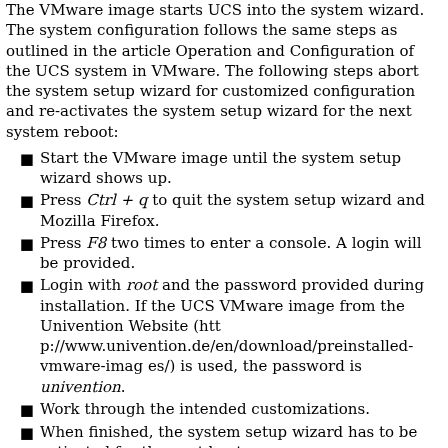The VMware image starts UCS into the system wizard. The system configuration follows the same steps as outlined in the article Operation and Configuration of the UCS system in VMware. The following steps abort the system setup wizard for customized configuration and re-activates the system setup wizard for the next system reboot:
Start the VMware image until the system setup wizard shows up.
Press Ctrl + q to quit the system setup wizard and Mozilla Firefox.
Press F8 two times to enter a console. A login will be provided.
Login with root and the password provided during installation. If the UCS VMware image from the Univention Website (http://www.univention.de/en/download/preinstalled-vmware-images/) is used, the password is univention.
Work through the intended customizations.
When finished, the system setup wizard has to be activated for the next boot.
ucr set system/setup/boot/start="true"
Retrieved from "https://wiki.univention.de/index.php?title=UCS_Appliance&oldid=7994"